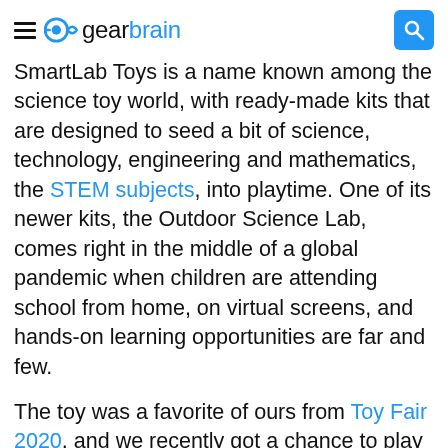gearbrain
SmartLab Toys is a name known among the science toy world, with ready-made kits that are designed to seed a bit of science, technology, engineering and mathematics, the STEM subjects, into playtime. One of its newer kits, the Outdoor Science Lab, comes right in the middle of a global pandemic when children are attending school from home, on virtual screens, and hands-on learning opportunities are far and few.
The toy was a favorite of ours from Toy Fair 2020, and we recently got a chance to play a bit with the new kit (one of the favorite parts of our job, we must admit.) Here's our thoughts on whether this meets the goals of a toy that's fun — and educational.